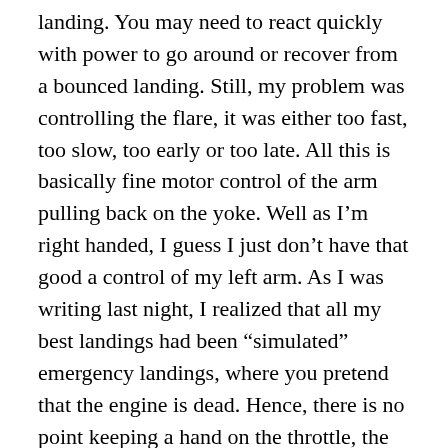landing. You may need to react quickly with power to go around or recover from a bounced landing. Still, my problem was controlling the flare, it was either too fast, too slow, too early or too late. All this is basically fine motor control of the arm pulling back on the yoke. Well as I'm right handed, I guess I just don't have that good a control of my left arm. As I was writing last night, I realized that all my best landings had been “simulated” emergency landings, where you pretend that the engine is dead. Hence, there is no point keeping a hand on the throttle, the whole point is getting down safely with it on idle. So I used both hands on the yoke and the landings were OK. I talked with Grainne about this before we